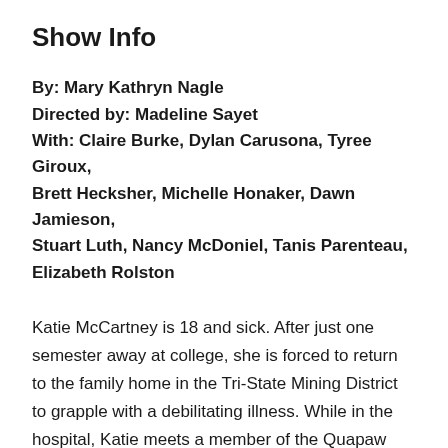Show Info
By: Mary Kathryn Nagle
Directed by: Madeline Sayet
With: Claire Burke, Dylan Carusona, Tyree Giroux, Brett Hecksher, Michelle Honaker, Dawn Jamieson, Stuart Luth, Nancy McDoniel, Tanis Parenteau, Elizabeth Rolston
Katie McCartney is 18 and sick. After just one semester away at college, she is forced to return to the family home in the Tri-State Mining District to grapple with a debilitating illness. While in the hospital, Katie meets a member of the Quapaw Tribe,